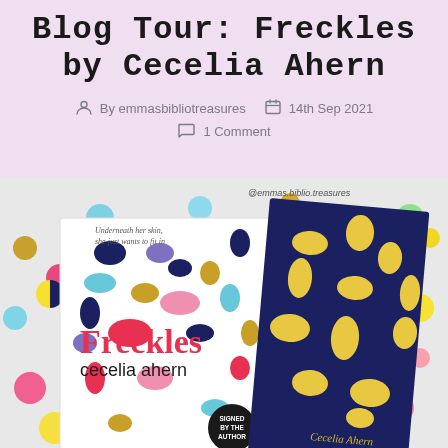Blog Tour: Freckles by Cecelia Ahern
By emmasbibliotreasures   14th Sep 2021   1 Comment
[Figure (photo): Photo of two copies of the book 'Freckles by Cecelia Ahern' — one with a white cover featuring colourful freckle/spot patterns and 'Freckles cecelia ahern' text, stamped 'SIGNED BY THE AUTHOR', and one with a dark navy blue cover with gold freckle patterns. Both books are surrounded by colourful confetti circles on a white background. Instagram handle '@emmas.biblio.treasures' visible in top right.]